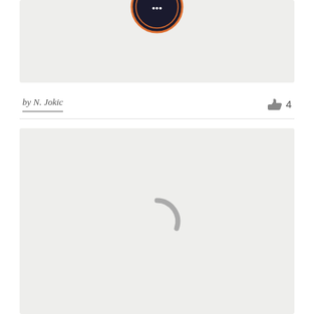[Figure (logo): Dark circular badge/logo with orange and white lettering, partially visible at top of card]
by N. Jokic
[Figure (illustration): Light gray card/panel with a gray spinning/loading circle indicator in the center]
[Figure (other): Thumbs up icon with count 4]